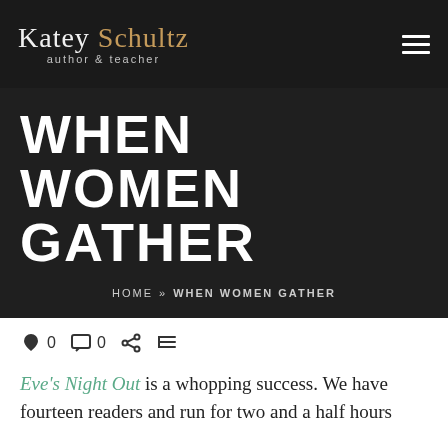Katey Schultz author & teacher
WHEN WOMEN GATHER
HOME » WHEN WOMEN GATHER
♥ 0  □ 0  < [share icon]  [print icon]
Eve's Night Out is a whopping success. We have fourteen readers and run for two and a half hours